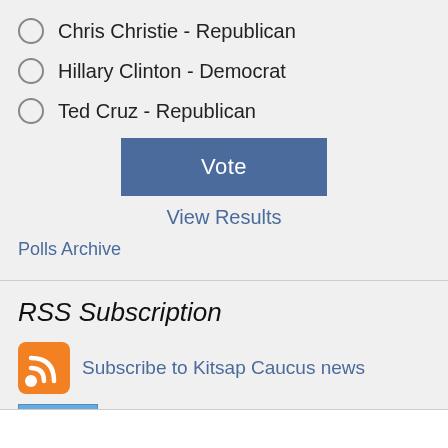Chris Christie - Republican
Hillary Clinton - Democrat
Ted Cruz - Republican
Vote
View Results
Polls Archive
RSS Subscription
Subscribe to Kitsap Caucus news
10 readers
BY FEEDBURNER